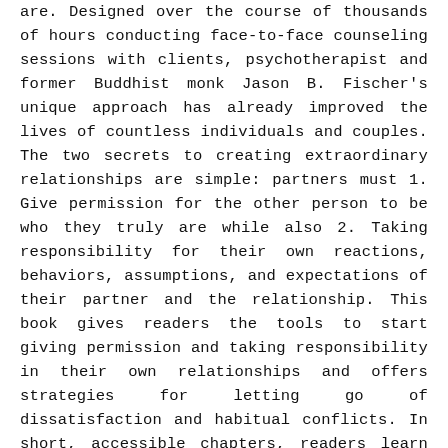are. Designed over the course of thousands of hours conducting face-to-face counseling sessions with clients, psychotherapist and former Buddhist monk Jason B. Fischer's unique approach has already improved the lives of countless individuals and couples. The two secrets to creating extraordinary relationships are simple: partners must 1. Give permission for the other person to be who they truly are while also 2. Taking responsibility for their own reactions, behaviors, assumptions, and expectations of their partner and the relationship. This book gives readers the tools to start giving permission and taking responsibility in their own relationships and offers strategies for letting go of dissatisfaction and habitual conflicts. In short, accessible chapters, readers learn how to put these seemingly simple rules into practice to regain balance and peace in their partnerships.